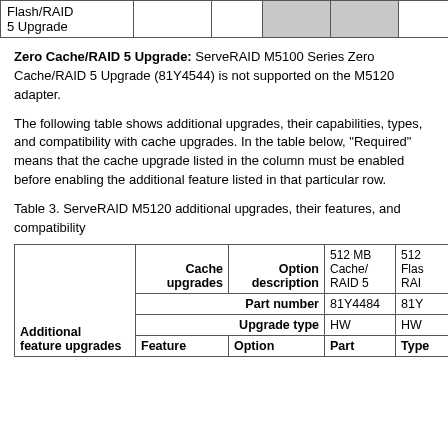| Flash/RAID 5 Upgrade |  |  |  |  |  |  |
| --- | --- | --- | --- | --- | --- | --- |
| Flash/RAID 5 Upgrade |  |  |  |  |  |  |
Zero Cache/RAID 5 Upgrade: ServeRAID M5100 Series Zero Cache/RAID 5 Upgrade (81Y4544) is not supported on the M5120 adapter.
The following table shows additional upgrades, their capabilities, types, and compatibility with cache upgrades. In the table below, "Required" means that the cache upgrade listed in the column must be enabled before enabling the additional feature listed in that particular row.
Table 3. ServeRAID M5120 additional upgrades, their features, and compatibility
| Additional feature upgrades | Cache upgrades | Option description | 512 MB Cache/ RAID 5 | 512 Flash/ RAID ... |
| --- | --- | --- | --- | --- |
|  |  | Part number | 81Y4484 | 81Y... |
|  |  | Upgrade type | HW | HW |
| Feature | Option | Part | Type |  |  |